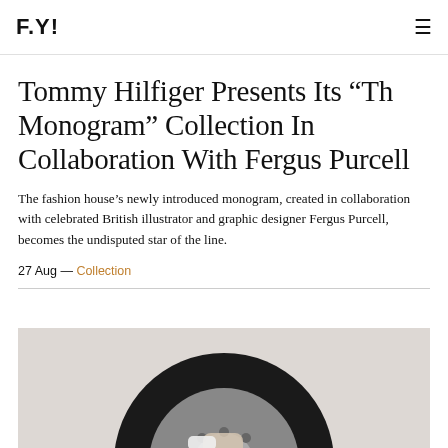F.Y!
[Figure (photo): Top partial image showing feet/shoes on a blue surface]
Tommy Hilfiger Presents Its “Th Monogram” Collection In Collaboration With Fergus Purcell
The fashion house’s newly introduced monogram, created in collaboration with celebrated British illustrator and graphic designer Fergus Purcell, becomes the undisputed star of the line.
27 Aug — Collection
[Figure (photo): Photo of a person holding a car tire/wheel, wearing a white shirt, against a light background]